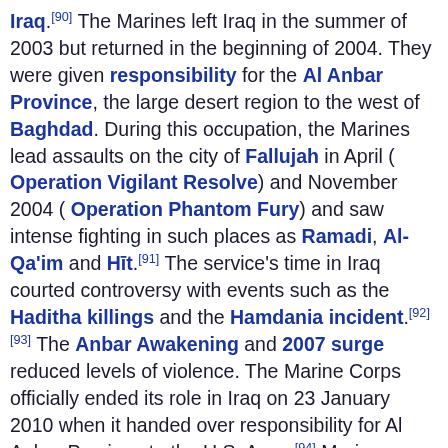Iraq.[90] The Marines left Iraq in the summer of 2003 but returned in the beginning of 2004. They were given responsibility for the Al Anbar Province, the large desert region to the west of Baghdad. During this occupation, the Marines lead assaults on the city of Fallujah in April ( Operation Vigilant Resolve) and November 2004 ( Operation Phantom Fury) and saw intense fighting in such places as Ramadi, Al-Qa'im and Hīt.[91] The service's time in Iraq courted controversy with events such as the Haditha killings and the Hamdania incident.[92][93] The Anbar Awakening and 2007 surge reduced levels of violence. The Marine Corps officially ended its role in Iraq on 23 January 2010 when it handed over responsibility for Al Anbar Province to the U.S. Army.[94] Marines returned to Iraq in the summer of 2014 in response to growing violence there.[95]